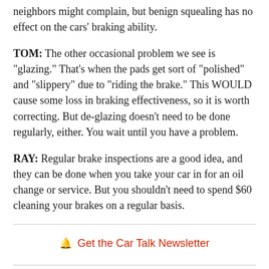neighbors might complain, but benign squealing has no effect on the cars' braking ability.
TOM: The other occasional problem we see is "glazing." That's when the pads get sort of "polished" and "slippery" due to "riding the brake." This WOULD cause some loss in braking effectiveness, so it is worth correcting. But de-glazing doesn't need to be done regularly, either. You wait until you have a problem.
RAY: Regular brake inspections are a good idea, and they can be done when you take your car in for an oil change or service. But you shouldn't need to spend $60 cleaning your brakes on a regular basis.
Get the Car Talk Newsletter